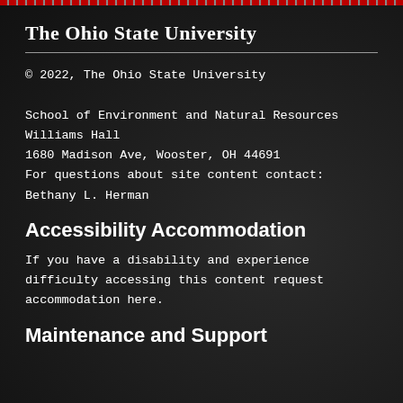The Ohio State University
© 2022, The Ohio State University

School of Environment and Natural Resources
Williams Hall
1680 Madison Ave, Wooster, OH 44691
For questions about site content contact:
Bethany L. Herman
Accessibility Accommodation
If you have a disability and experience difficulty accessing this content request accommodation here.
Maintenance and Support